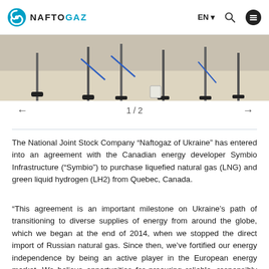NAFTOGAZ | EN
[Figure (photo): Partial view of industrial or conference equipment on a surface, showing metal stands and objects on a light-colored floor.]
1 / 2
The National Joint Stock Company “Naftogaz of Ukraine” has entered into an agreement with the Canadian energy developer Symbio Infrastructure (“Symbio”) to purchase liquefied natural gas (LNG) and green liquid hydrogen (LH2) from Quebec, Canada.
“This agreement is an important milestone on Ukraine’s path of transitioning to diverse supplies of energy from around the globe, which we began at the end of 2014, when we stopped the direct import of Russian natural gas. Since then, we’ve fortified our energy independence by being an active player in the European energy market. We believe opportunities for procuring reliable, responsibly produced long-term energy supply from allies like Canada – and from Symbio’s facilities – by 2027 is